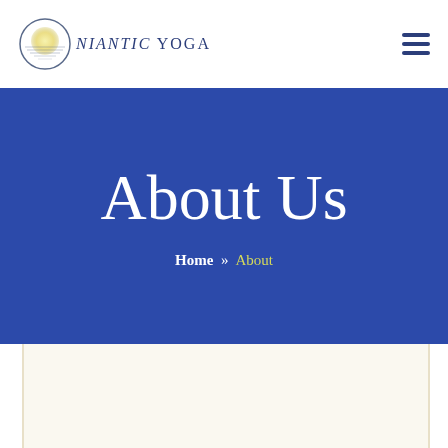[Figure (logo): Niantic Yoga logo with circular sun graphic and stylized text 'niantic YOGA']
About Us
Home » About